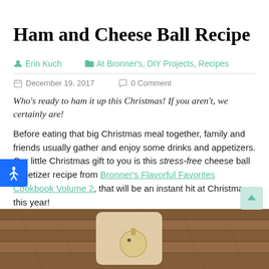Ham and Cheese Ball Recipe
Erin Kuch   At Bronner's, DIY Projects, Recipes
December 19, 2017   0 Comment
Who's ready to ham it up this Christmas! If you aren't, we certainly are!
Before eating that big Christmas meal together, family and friends usually gather and enjoy some drinks and appetizers. Our little Christmas gift to you is this stress-free cheese ball appetizer recipe from Bronner's Flavorful Favorites Cookbook Volume 2, that will be an instant hit at Christmas this year!
[Figure (photo): Photo of a wooden cutting board with a Christmas ornament shape on a wood plank background]